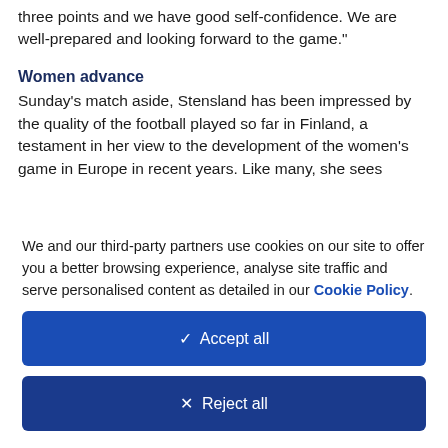three points and we have good self-confidence. We are well-prepared and looking forward to the game."
Women advance
Sunday's match aside, Stensland has been impressed by the quality of the football played so far in Finland, a testament in her view to the development of the women's game in Europe in recent years. Like many, she sees
We and our third-party partners use cookies on our site to offer you a better browsing experience, analyse site traffic and serve personalised content as detailed in our Cookie Policy.
✓  Accept all
✕  Reject all
Cookie settings  >